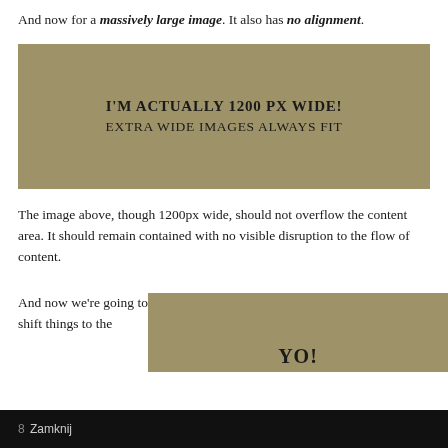And now for a massively large image. It also has no alignment.
[Figure (illustration): A tan/khaki colored wide rectangle with text 'I'M ACTUALLY 1200 PX WIDE!' and 'EXTRA WIDE IMAGES ALWAYS FIT' centered inside it.]
The image above, though 1200px wide, should not overflow the content area. It should remain contained with no visible disruption to the flow of content.
And now we're going to shift things to the
[Figure (illustration): A tan/khaki colored rectangle partially visible, with text 'YO!' visible at the bottom right.]
8 Zamknij